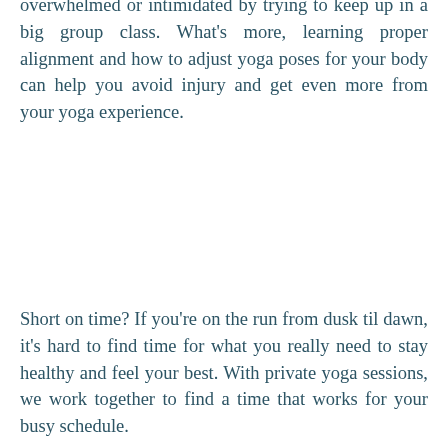overwhelmed or intimidated by trying to keep up in a big group class. What's more, learning proper alignment and how to adjust yoga poses for your body can help you avoid injury and get even more from your yoga experience.
Short on time? If you're on the run from dusk til dawn, it's hard to find time for what you really need to stay healthy and feel your best. With private yoga sessions, we work together to find a time that works for your busy schedule.
Have limitations? Injuries? Health concerns? Yoga was never meant to be one-size-fits-all. A Private Yoga session is designed to meet you exactly where you are at - including whatever limitations arise. Even better, your private yoga practice can be tailored to support you in achieving your most important health and life goals. Many times my students feel better, sooner than they